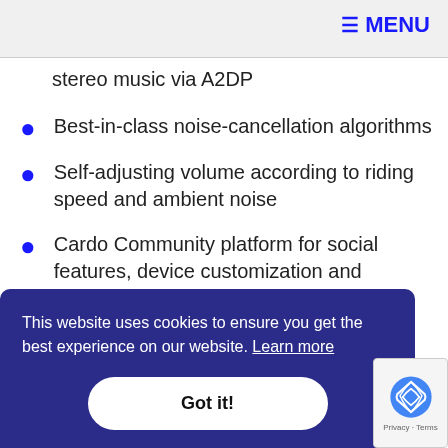≡ MENU
stereo music via A2DP
Best-in-class noise-cancellation algorithms
Self-adjusting volume according to riding speed and ambient noise
Cardo Community platform for social features, device customization and software upgrades (range dependent on riding environment)
This website uses cookies to ensure you get the best experience on our website. Learn more
Got it!